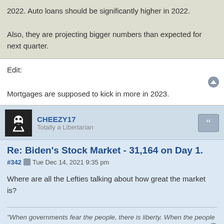2022. Auto loans should be significantly higher in 2022.

Also, they are projecting bigger numbers than expected for next quarter.
Edit:

Mortgages are supposed to kick in more in 2023.
CHEEZY17
Totally a Libertarian
Re: Biden's Stock Market - 31,164 on Day 1.
#342  Tue Dec 14, 2021 9:35 pm
Where are all the Lefties talking about how great the market is?
"When governments fear the people, there is liberty. When the people fear the government, there is tyranny."
CHEEZY17
Totally a Libertarian